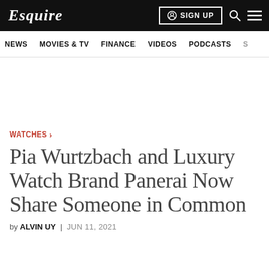Esquire
NEWS  MOVIES & TV  FINANCE  VIDEOS  PODCASTS
WATCHES >
Pia Wurtzbach and Luxury Watch Brand Panerai Now Share Someone in Common
by ALVIN UY | JUN 11, 2021